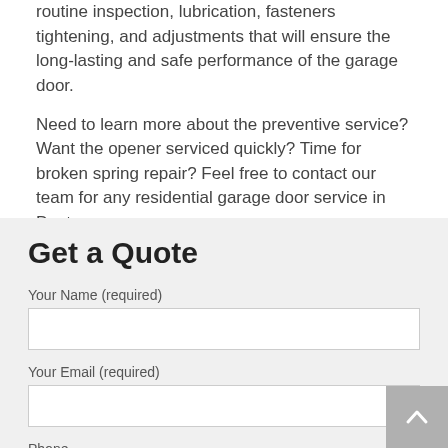routine inspection, lubrication, fasteners tightening, and adjustments that will ensure the long-lasting and safe performance of the garage door.
Need to learn more about the preventive service? Want the opener serviced quickly? Time for broken spring repair? Feel free to contact our team for any residential garage door service in Dayton.
Get a Quote
Your Name (required)
Your Email (required)
Phone